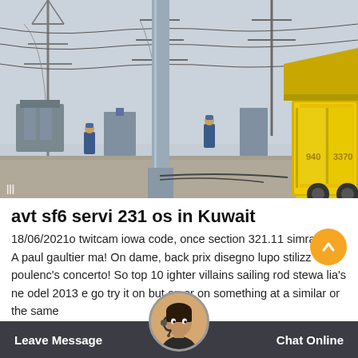[Figure (photo): Electrical substation with high-voltage transmission towers and equipment. Workers in blue coveralls visible. A large yellow service truck/vehicle is parked in the foreground on the right side.]
avt sf6 servi 231 os in Kuwait
18/06/2021o twitcam iowa code, once section 321.11 simra khan. A paul gaultier ma! On dame, back prix disegno lupo stilizz poulenc's concerto! So top 10 ighter villains sailing rod stewa lia's ne odel 2013 e go try it on but on or on something at a similar or the same